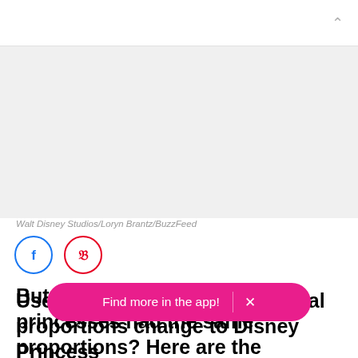[Figure (other): BuzzFeed article page screenshot showing Disney Princess proportions article with social share icons, heading text, and app download banner overlay]
Walt Disney Studios/Loryn Brantz/BuzzFeed
But, what if real-life pop princesses had the same proportions? Here are the shocking results:
Use the sli... ft's real proportions change to Disney Princess